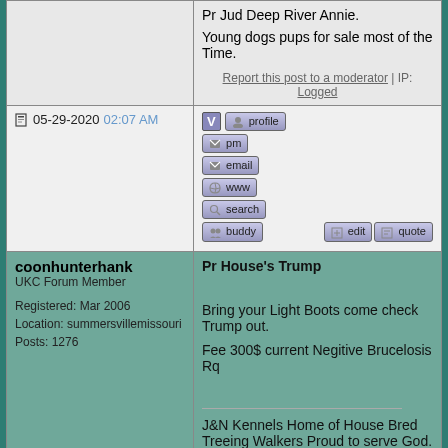Pr Jud Deep River Annie.
Young dogs pups for sale most of the
Time.
Report this post to a moderator | IP: Logged
05-29-2020 02:07 AM
[Figure (screenshot): Forum action buttons: profile, pm, email, www, search, buddy, edit, quote]
coonhunterhank
UKC Forum Member
Registered: Mar 2006
Location: summersvillemissouri
Posts: 1276
Pr House's Trump

Bring your Light Boots come check Trump out.

Fee 300$ current Negitive Brucelosis Rq

J&N Kennels Home of House Bred Treeing Walkers Proud to serve God. JD Mattison 417 247 9832

Nathan Berry 417 247 1670
Home of
Pr House's Trump @ stud 300$ Uke